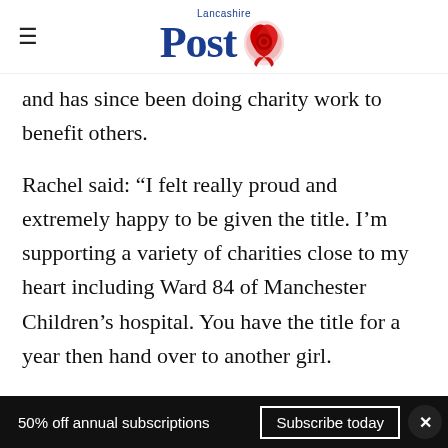Lancashire Post
and has since been doing charity work to benefit others.
Rachel said: “I felt really proud and extremely happy to be given the title. I’m supporting a variety of charities close to my heart including Ward 84 of Manchester Children’s hospital. You have the title for a year then hand over to another girl.
50% off annual subscriptions  Subscribe today